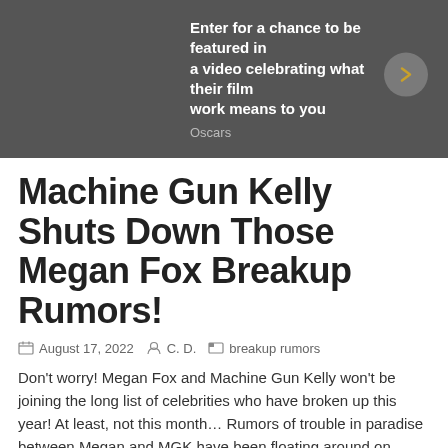[Figure (other): Dark grey banner advertisement with text 'Enter for a chance to be featured in a video celebrating what their film work means to you' and 'Oscars' subtext, with a circular arrow button on the right]
Machine Gun Kelly Shuts Down Those Megan Fox Breakup Rumors!
August 17, 2022  C. D.  breakup rumors
Don't worry! Megan Fox and Machine Gun Kelly won't be joining the long list of celebrities who have broken up this year! At least, not this month… Rumors of trouble in paradise between Megan and MGK have been floating around on social media lately. Fans started to believe the twin-flame souls really called it quits […]
Read More…
The post Machine Gun Kelly Shuts Down Those Megan Fox